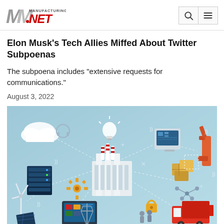Manufacturing.NET
Elon Musk's Tech Allies Miffed About Twitter Subpoenas
The subpoena includes "extensive requests for communications."
August 3, 2022
[Figure (illustration): Isometric illustration of Industry 4.0 / IoT manufacturing ecosystem showing interconnected icons: cloud, server rack, gears, factory with smokestacks, robot arm, packages, delivery truck, tablet, light bulb, wind turbine, solar panels, drone, padlock, and other smart manufacturing elements on a light blue background with dotted connection lines.]